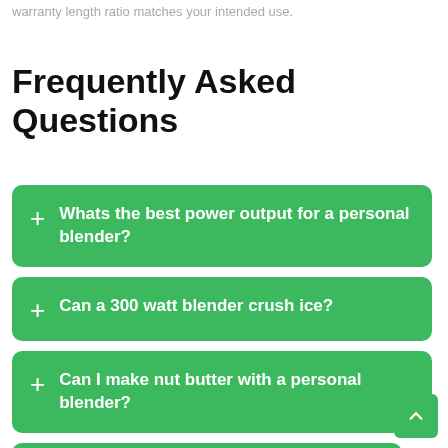warranty length ratio matches your intended use.
Frequently Asked Questions
Whats the best power output for a personal blender?
Can a 300 watt blender crush ice?
Can I make nut butter with a personal blender?
Can I use a personal blender to make ...